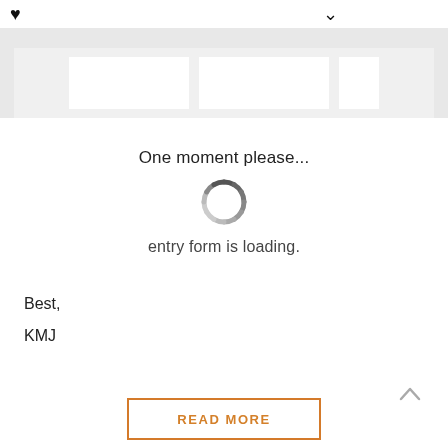[Figure (screenshot): Heart icon and chevron/down-arrow icon in top bar]
[Figure (photo): Partial photo strip showing light grey background with white rectangular elements]
One moment please...
[Figure (other): Circular loading spinner with segmented dark and light grey arcs]
entry form is loading.
Best,
KMJ
[Figure (other): Upward-pointing chevron arrow icon]
READ MORE